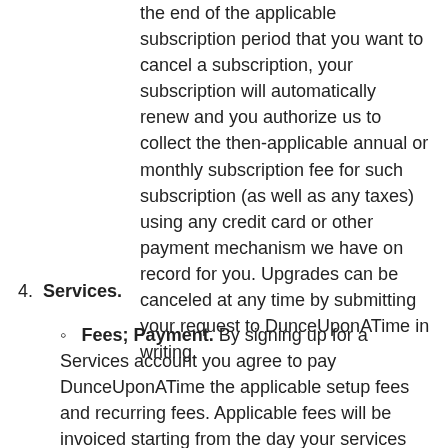the end of the applicable subscription period that you want to cancel a subscription, your subscription will automatically renew and you authorize us to collect the then-applicable annual or monthly subscription fee for such subscription (as well as any taxes) using any credit card or other payment mechanism we have on record for you. Upgrades can be canceled at any time by submitting your request to DunceUponATime in writing.
4. Services.
Fees; Payment. By signing up for a Services account you agree to pay DunceUponATime the applicable setup fees and recurring fees. Applicable fees will be invoiced starting from the day your services are established and in advance of using such services. DunceUponATime reserves the right to change the payment terms and fees upon thirty (30) days prior written notice to